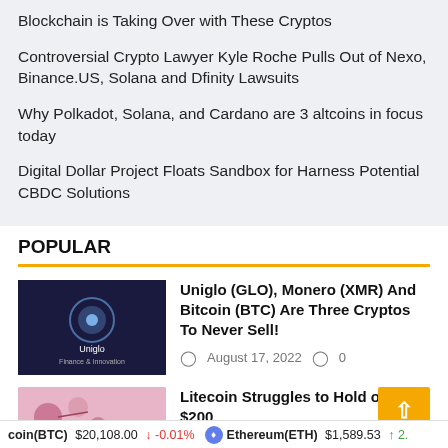Blockchain is Taking Over with These Cryptos
Controversial Crypto Lawyer Kyle Roche Pulls Out of Nexo, Binance.US, Solana and Dfinity Lawsuits
Why Polkadot, Solana, and Cardano are 3 altcoins in focus today
Digital Dollar Project Floats Sandbox for Harness Potential CBDC Solutions
POPULAR
[Figure (photo): Dark blue background with Uniglo logo and text]
Uniglo (GLO), Monero (XMR) And Bitcoin (BTC) Are Three Cryptos To Never Sell!
August 17, 2022   0
[Figure (photo): Pink background with medical/science themed icons]
Litecoin Struggles to Hold on to $200
coin(BTC)  $20,108.00  ↓ -0.01%     Ethereum(ETH)  $1,589.53  ↑ 2.